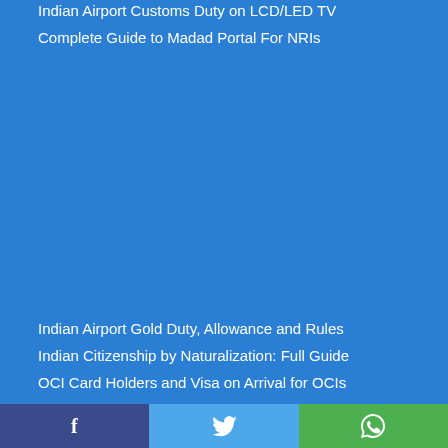Indian Airport Customs Duty on LCD/LED TV
Complete Guide to Madad Portal For NRIs
Indian Airport Gold Duty, Allowance and Rules
Indian Citizenship by Naturalization: Full Guide
Facebook Twitter WhatsApp social share bar